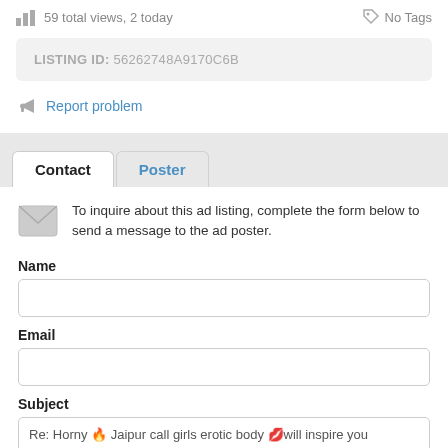59 total views, 2 today
No Tags
LISTING ID: 56262748A9170C6B
Report problem
Contact
Poster
To inquire about this ad listing, complete the form below to send a message to the ad poster.
Name
Email
Subject
Re: Horny 🔥 Jaipur call girls erotic body 💋will inspire you
M